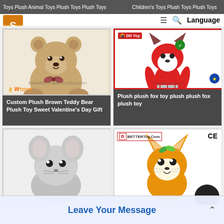Toys Plush Animal Toys Plush Toys Plush Toys | Children's Toys Plush Toys Plush Toys
[Figure (screenshot): Website screenshot showing a product listing page for plush toys. Top navigation bar with logo, hamburger menu, search icon, and Language button. Four product cards in a 2x2 grid: 1) Custom Plush Brown Teddy Bear Plush Toy Sweet Valentine's Day Gift with brown teddy bear image, 2) Plush plush fox toy plush plush fox plush toy with red fox plush doll image, 3) A grey mouse/hamster plush toy (partially visible), 4) An orange fox plush toy with BetterToy logo (partially visible). A 'Leave Your Message' floating bar at bottom.]
Custom Plush Brown Teddy Bear Plush Toy Sweet Valentine&#39;s Day Gift
Plush plush fox toy plush plush fox plush toy
Leave Your Message